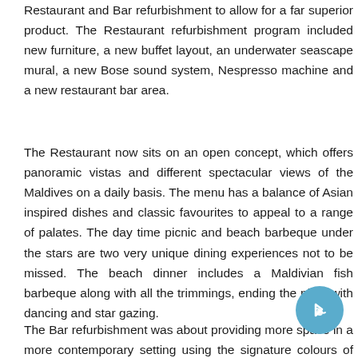Restaurant and Bar refurbishment to allow for a far superior product. The Restaurant refurbishment program included new furniture, a new buffet layout, an underwater seascape mural, a new Bose sound system, Nespresso machine and a new restaurant bar area.
The Restaurant now sits on an open concept, which offers panoramic vistas and different spectacular views of the Maldives on a daily basis. The menu has a balance of Asian inspired dishes and classic favourites to appeal to a range of palates. The day time picnic and beach barbeque under the stars are two very unique dining experiences not to be missed. The beach dinner includes a Maldivian fish barbeque along with all the trimmings, ending the night with dancing and star gazing.
The Bar refurbishment was about providing more space in a more contemporary setting using the signature colours of blue, white